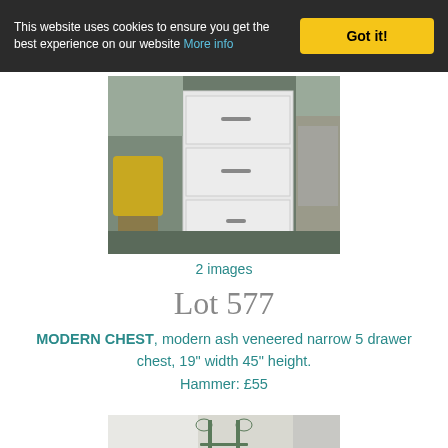This website uses cookies to ensure you get the best experience on our website More info  Got it!
[Figure (photo): White chest of drawers with 3 visible drawers and handles, photographed in a room setting with yellow toys and other furniture visible in background]
2 images
Lot 577
MODERN CHEST, modern ash veneered narrow 5 drawer chest, 19" width 45" height. Hammer: £55
[Figure (photo): Metal decorative plant stand or candle holder with ornamental scrollwork, photographed against a light background]